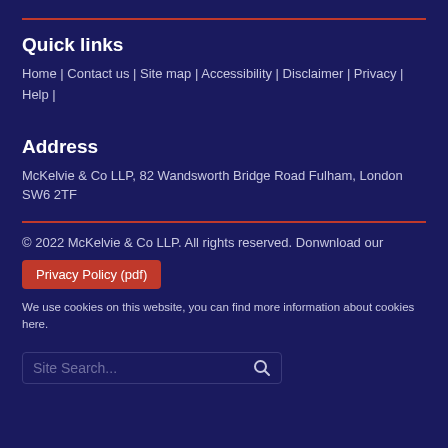Quick links
Home | Contact us | Site map | Accessibility | Disclaimer | Privacy | Help |
Address
McKelvie & Co LLP, 82 Wandsworth Bridge Road Fulham, London SW6 2TF
© 2022 McKelvie & Co LLP. All rights reserved. Donwnload our
Privacy Policy (pdf)
We use cookies on this website, you can find more information about cookies here.
Site Search...